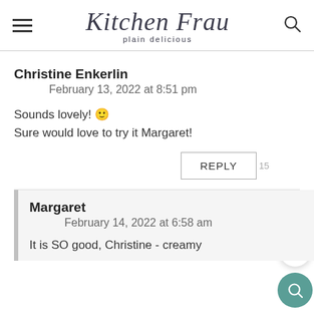Kitchen Frau — plain delicious
Christine Enkerlin
February 13, 2022 at 8:51 pm
Sounds lovely! 🙂
Sure would love to try it Margaret!
REPLY  15
Margaret
February 14, 2022 at 6:58 am
It is SO good, Christine - creamy